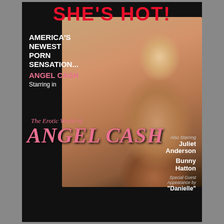SHE'S HOT!
AMERICA'S NEWEST PORN SENSATION... ANGEL CASH Starring in
The Erotic World of ANGEL CASH
Also Starring Juliet Anderson
Bunny Hatton
Special Guest Appearance by "Danielle"